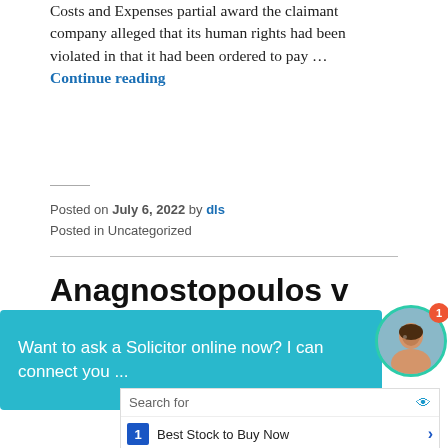Costs and Expenses partial award the claimant company alleged that its human rights had been violated in that it had been ordered to pay …
Continue reading
Posted on July 6, 2022 by dls
Posted in Uncategorized
Anagnostopoulos v
ECtHR Judgment (Merits and Just Satisfaction) – Violation of Art. 6 § 1; Violation of Art. 13; Non-
[Figure (screenshot): Chat widget overlay with teal background reading 'Want to ask a Solicitor online now? I can connect you ...' with avatar of a woman and notification badge showing '1']
[Figure (screenshot): Search widget with rows: 1. Best Stock to Buy Now, 2. Best Rated Sports Shoes]